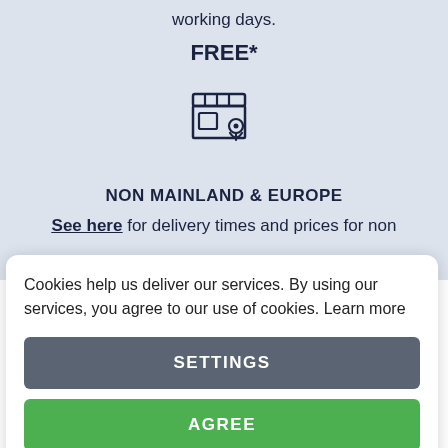working days.
FREE*
[Figure (illustration): Icon of a store/shop with a location pin, outline style in dark navy]
NON MAINLAND & EUROPE
See here for delivery times and prices for non
Cookies help us deliver our services. By using our services, you agree to our use of cookies. Learn more
SETTINGS
AGREE